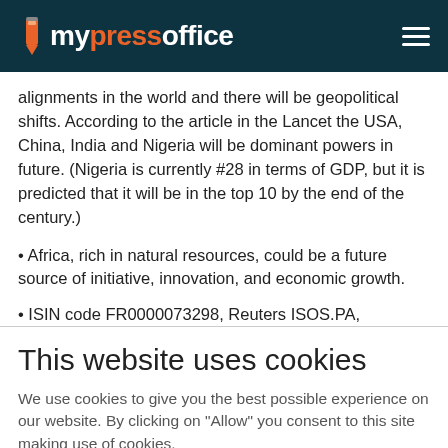mypressoffice
alignments in the world and there will be geopolitical shifts. According to the article in the Lancet the USA, China, India and Nigeria will be dominant powers in future. (Nigeria is currently #28 in terms of GDP, but it is predicted that it will be in the top 10 by the end of the century.)
• Africa, rich in natural resources, could be a future source of initiative, innovation, and economic growth.
• ISIN code FR0000073298, Reuters ISOS.PA, Bloomberg IPS:FP | www.ipsos.com
This website uses cookies
We use cookies to give you the best possible experience on our website. By clicking on "Allow" you consent to this site making use of cookies.